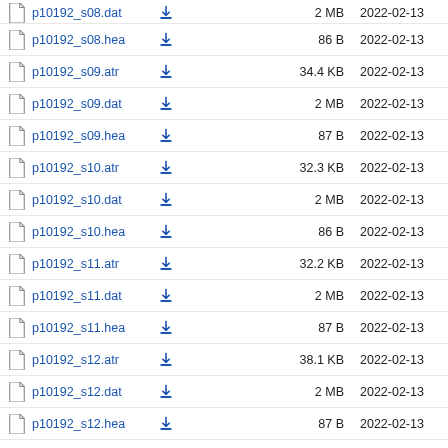p10192_s08.dat  2 MB  2022-02-13
p10192_s08.hea  86 B  2022-02-13
p10192_s09.atr  34.4 KB  2022-02-13
p10192_s09.dat  2 MB  2022-02-13
p10192_s09.hea  87 B  2022-02-13
p10192_s10.atr  32.3 KB  2022-02-13
p10192_s10.dat  2 MB  2022-02-13
p10192_s10.hea  86 B  2022-02-13
p10192_s11.atr  32.2 KB  2022-02-13
p10192_s11.dat  2 MB  2022-02-13
p10192_s11.hea  87 B  2022-02-13
p10192_s12.atr  38.1 KB  2022-02-13
p10192_s12.dat  2 MB  2022-02-13
p10192_s12.hea  87 B  2022-02-13